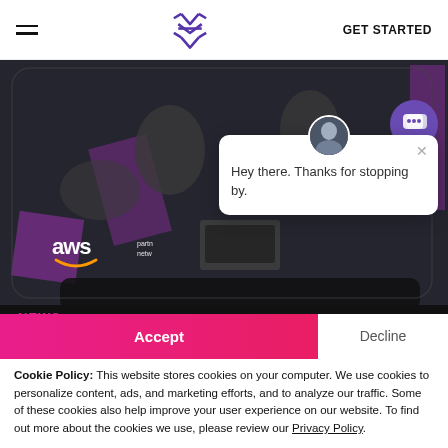[Figure (logo): Website header with hamburger menu, purple star/cross logo, and GET STARTED text]
[Figure (screenshot): Hero image showing people working with laptops in grayscale with purple accents and AWS partner network badge]
[Figure (other): Chat popup with avatar saying 'Hey there. Thanks for stopping by.']
[Figure (other): Purple chat button icon at bottom right of hero]
NEWS
Accept | Decline — Cookie Policy: This website stores cookies on your computer. We use cookies to personalize content, ads, and marketing efforts, and to analyze our traffic. Some of these cookies also help improve your user experience on our website. To find out more about the cookies we use, please review our Privacy Policy.